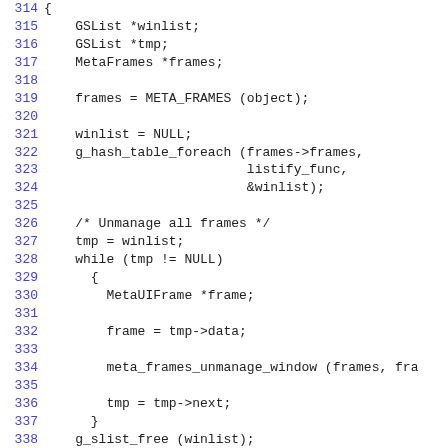Code listing lines 314-343 showing C source code with GSList, MetaFrames, hash table foreach, while loop, and GTK object class destroy